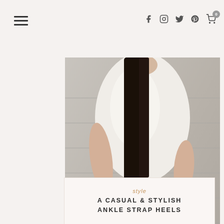Navigation header with menu icon and social icons (Facebook, Instagram, Twitter, Pinterest, Cart)
[Figure (photo): Fashion blog photo of a woman from neck to hip wearing a white short-sleeve top, blue jeans, holding a tan/brown laser-cut leather clutch bag with gold hardware. She wears bracelets on both wrists. Background is blurred concrete steps.]
style
A CASUAL & STYLISH ANKLE STRAP HEELS